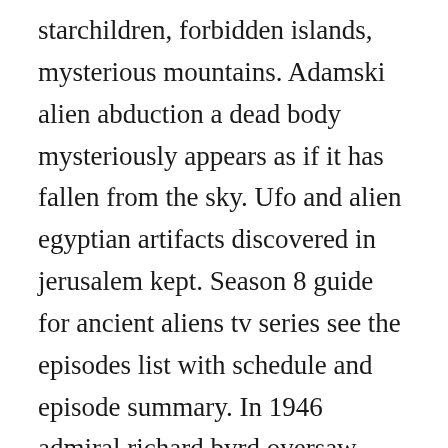starchildren, forbidden islands, mysterious mountains. Adamski alien abduction a dead body mysteriously appears as if it has fallen from the sky. Ufo and alien egyptian artifacts discovered in jerusalem kept. Season 8 guide for ancient aliens tv series see the episodes list with schedule and episode summary. In 1946 admiral richard byrd oversaw operation high jump. Ancient aliens tv show season 5 episodes list next episode. Take a look back at early methods of airborne attack, from medieval kite bombs to ancient chinas whistling arrows. Mexican chupacabras in